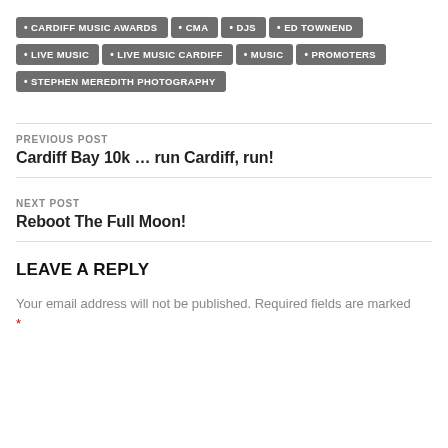• CARDIFF MUSIC AWARDS
• CMA
• DJS
• ED TOWNEND
• LIVE MUSIC
• LIVE MUSIC CARDIFF
• MUSIC
• PROMOTERS
• STEPHEN MEREDITH PHOTOGRAPHY
PREVIOUS POST
Cardiff Bay 10k … run Cardiff, run!
NEXT POST
Reboot The Full Moon!
LEAVE A REPLY
Your email address will not be published. Required fields are marked *